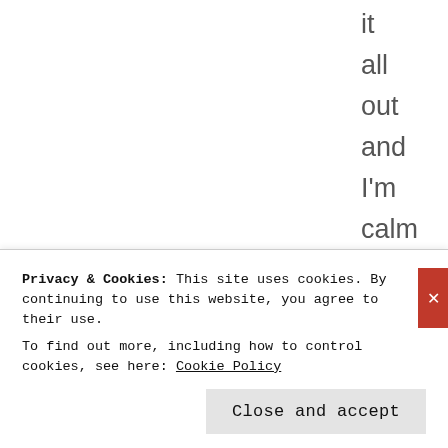it
all
out
and
I'm
calm
now
[Figure (illustration): A blue star icon followed by the word 'Like' below it, serving as a like/bookmark button.]
Like
A
l
Privacy & Cookies: This site uses cookies. By continuing to use this website, you agree to their use.
To find out more, including how to control cookies, see here: Cookie Policy
Close and accept